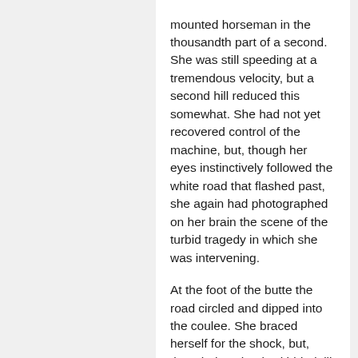mounted horseman in the thousandth part of a second. She was still speeding at a tremendous velocity, but a second hill reduced this somewhat. She had not yet recovered control of the machine, but, though her eyes instinctively followed the white road that flashed past, she again had photographed on her brain the scene of the turbid tragedy in which she was intervening.
At the foot of the butte the road circled and dipped into the coulee. She braced herself for the shock, but, though the wheels skidded till her heart was in her throat, the automobile, hanging on the balance of disaster, swept round in safety.
Her horn screamed an instant warning to the trapped man. She could not see